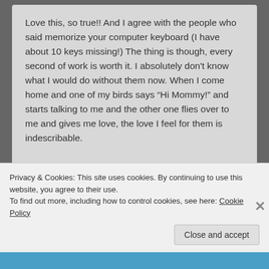Love this, so true!! And I agree with the people who said memorize your computer keyboard (I have about 10 keys missing!) The thing is though, every second of work is worth it. I absolutely don't know what I would do without them now. When I come home and one of my birds says “Hi Mommy!” and starts talking to me and the other one flies over to me and gives me love, the love I feel for them is indescribable.
★ Like
Barb
Privacy & Cookies: This site uses cookies. By continuing to use this website, you agree to their use.
To find out more, including how to control cookies, see here: Cookie Policy
Close and accept